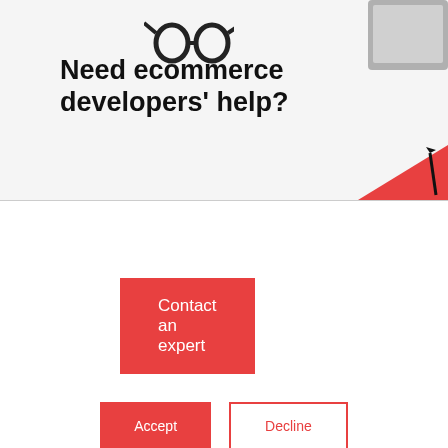[Figure (illustration): Top banner section with glasses and laptop corner visible, light gray background with a red corner element at bottom right]
Need ecommerce developers' help?
Contact an expert
This website stores cookies on your computer. These cookies are used to collect information about how you interact with our website and allow us to remember you. We use this information in order to improve and customize your browsing experience and for analytics and metrics about our visitors both on this website and other media. To find out more about the cookies we use, see our Privacy Policy.
If you decline, your information won't be tracked when you visit this website. A single cookie will be used in your browser to remember your preference not to be tracked.
Accept
Decline